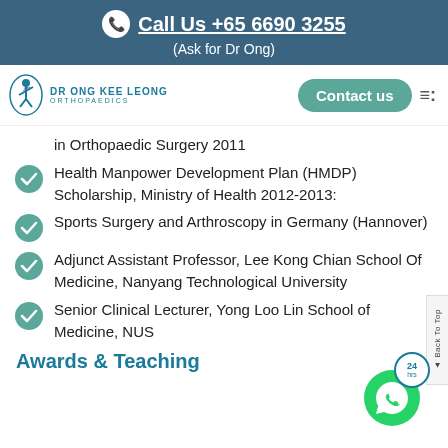Call Us +65 6690 3255 (Ask for Dr Ong)
[Figure (logo): Dr Ong Kee Leong Orthopaedics logo with figure icon and teal text]
in Orthopaedic Surgery 2011
Health Manpower Development Plan (HMDP) Scholarship, Ministry of Health 2012-2013:
Sports Surgery and Arthroscopy in Germany (Hannover)
Adjunct Assistant Professor, Lee Kong Chian School Of Medicine, Nanyang Technological University
Senior Clinical Lecturer, Yong Loo Lin School of Medicine, NUS
Awards & Teaching